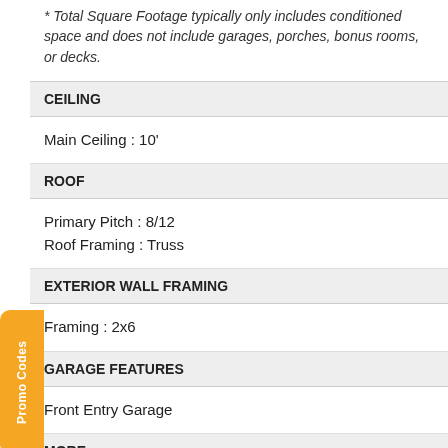* Total Square Footage typically only includes conditioned space and does not include garages, porches, bonus rooms, or decks.
CEILING
Main Ceiling : 10'
ROOF
Primary Pitch : 8/12
Roof Framing : Truss
EXTERIOR WALL FRAMING
Framing : 2x6
GARAGE FEATURES
Front Entry Garage
MORE
Economical To Build